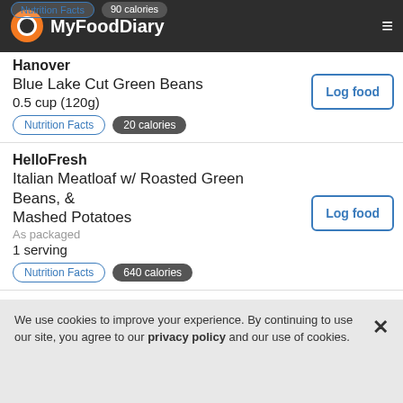MyFoodDiary
Hanover
Blue Lake Cut Green Beans
0.5 cup (120g)
Nutrition Facts | 20 calories
Log food
HelloFresh
Italian Meatloaf w/ Roasted Green Beans, & Mashed Potatoes
As packaged
1 serving
Nutrition Facts | 640 calories
Log food
Green Beans w/ No Salt Added
Canned. Drained.
1 cup
Nutrition Facts | 27 calories
Log food
We use cookies to improve your experience. By continuing to use our site, you agree to our privacy policy and our use of cookies.